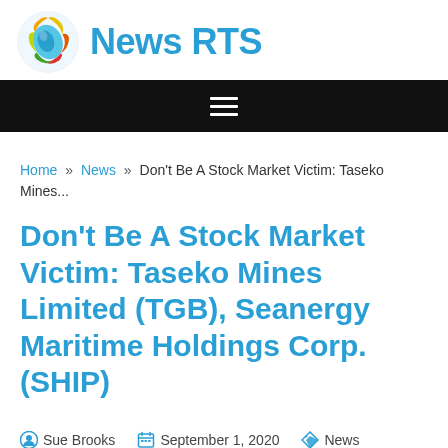News RTS
Home » News » Don't Be A Stock Market Victim: Taseko Mines...
Don't Be A Stock Market Victim: Taseko Mines Limited (TGB), Seanergy Maritime Holdings Corp. (SHIP)
Sue Brooks   September 1, 2020   News